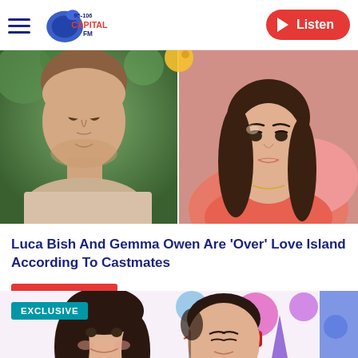Capital FM 95-106 | Listen
[Figure (photo): Two side-by-side photos: left shows a young man (Luca Bish) looking upward with greenery in background; right shows a young woman (Gemma Owen) lying back, wearing orange/pink top.]
Luca Bish And Gemma Owen Are 'Over' Love Island According To Castmates
LOVE ISLAND »
[Figure (photo): Partial image of two women smiling, with colorful party decoration background. An 'EXCLUSIVE' badge overlays top-left. One woman wears headphones.]